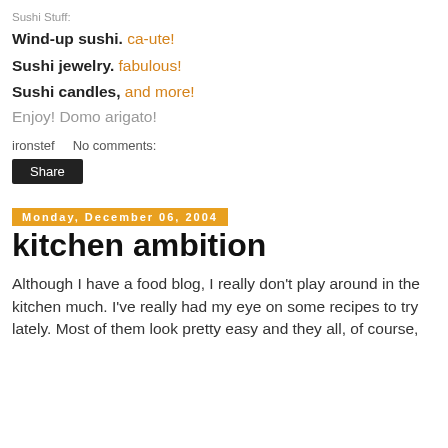Sushi Stuff:
Wind-up sushi. ca-ute!
Sushi jewelry. fabulous!
Sushi candles, and more!
Enjoy! Domo arigato!
ironstef    No comments:
Share
Monday, December 06, 2004
kitchen ambition
Although I have a food blog, I really don't play around in the kitchen much. I've really had my eye on some recipes to try lately. Most of them look pretty easy and they all, of course,